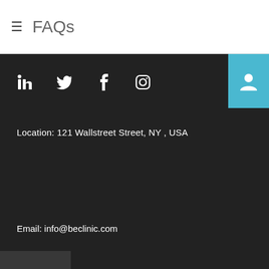≡ FAQs
[Figure (screenshot): Social media icons row: LinkedIn, Twitter, Facebook, Instagram on dark background, with user profile icon in blue box at top right]
Location: 121 Wallstreet Street, NY , USA
Email: info@beclinic.com
rgency cases: 800 123 45 67
[Figure (logo): MEDICALOG logo with heartbeat/ECG line graphic in teal/cyan color followed by text MEDICALOG in white]
Home / Pages / FAQs